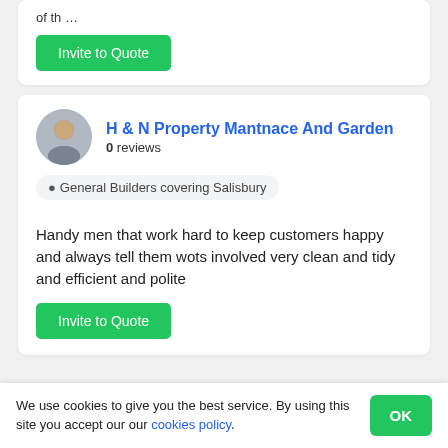of th …
Invite to Quote
H & N Property Mantnace And Garden
0 reviews
General Builders covering Salisbury
Handy men that work hard to keep customers happy and always tell them wots involved very clean and tidy and efficient and polite
Invite to Quote
We use cookies to give you the best service. By using this site you accept our our cookies policy.